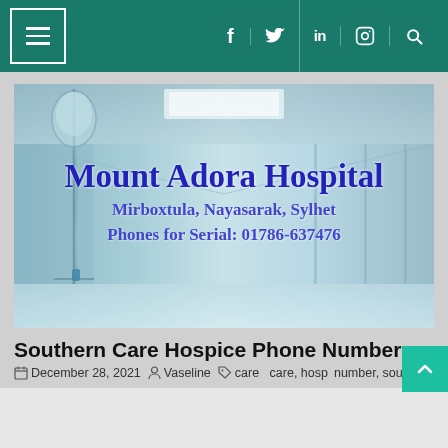Navigation header with menu icon and social icons: f, twitter, in, instagram, search
[Figure (photo): Hospital corridor background image with IV drip in foreground, overlaid with text: Mount Adora Hospital, Mirboxtula, Nayasarak, Sylhet, Phones for Serial: 01786-637476]
Southern Care Hospice Phone Number
December 28, 2021  Vaseline  care  care, hosp  number, southern